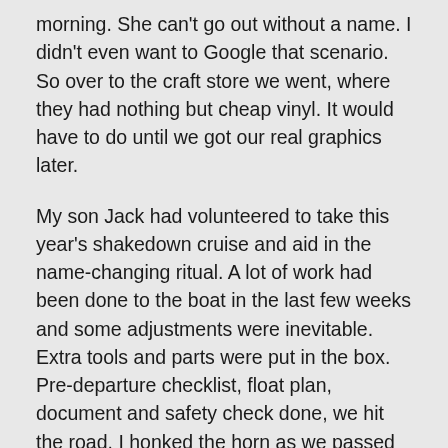morning. She can't go out without a name. I didn't even want to Google that scenario. So over to the craft store we went, where they had nothing but cheap vinyl. It would have to do until we got our real graphics later.
My son Jack had volunteered to take this year's shakedown cruise and aid in the name-changing ritual. A lot of work had been done to the boat in the last few weeks and some adjustments were inevitable. Extra tools and parts were put in the box. Pre-departure checklist, float plan, document and safety check done, we hit the road. I honked the horn as we passed underneath the railroad trestle. It seemed to have extra meaning that day. Jenny was tied to the dock with her blower on. I